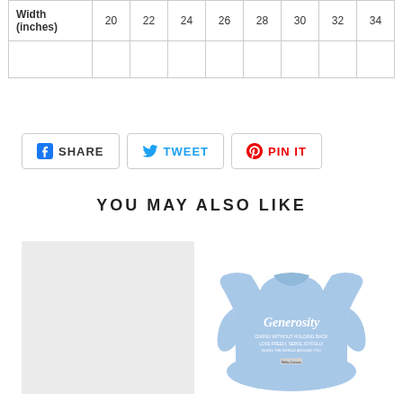| Width (inches) | 20 | 22 | 24 | 26 | 28 | 30 | 32 | 34 |
| --- | --- | --- | --- | --- | --- | --- | --- | --- |
[Figure (other): Social sharing buttons: Facebook Share, Twitter Tweet, Pinterest Pin It]
YOU MAY ALSO LIKE
[Figure (photo): Light gray/blank product image placeholder]
[Figure (photo): Light blue sweatshirt with Generosity text printed on the front]